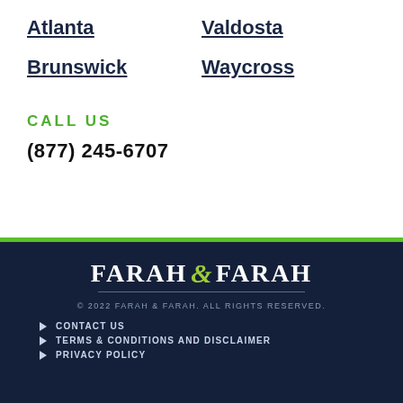Atlanta
Valdosta
Brunswick
Waycross
CALL US
(877) 245-6707
[Figure (logo): Farah & Farah law firm logo with stylized ampersand in green/yellow on dark navy background]
© 2022 FARAH & FARAH. ALL RIGHTS RESERVED.
CONTACT US
TERMS & CONDITIONS AND DISCLAIMER
PRIVACY POLICY